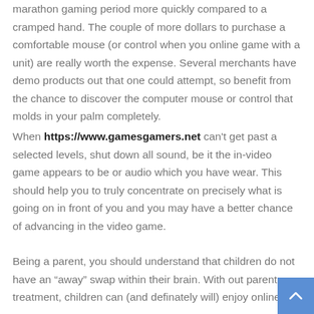marathon gaming period more quickly compared to a cramped hand. The couple of more dollars to purchase a comfortable mouse (or control when you online game with a unit) are really worth the expense. Several merchants have demo products out that one could attempt, so benefit from the chance to discover the computer mouse or control that molds in your palm completely.
When https://www.gamesgamers.net can't get past a selected levels, shut down all sound, be it the in-video game appears to be or audio which you have wear. This should help you to truly concentrate on precisely what is going on in front of you and you may have a better chance of advancing in the video game.
Being a parent, you should understand that children do not have an “away” swap within their brain. With out parent treatment, children can (and definately will) enjoy online